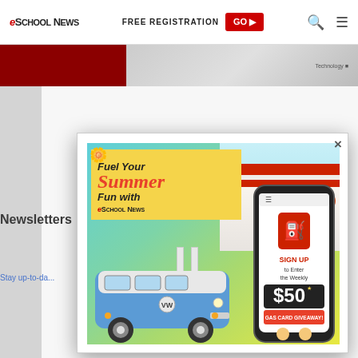eSchool News | FREE REGISTRATION GO ▶
[Figure (screenshot): Partial banner advertisement at top of page, dark red and gray tones]
Newsletters
Stay up-to-da...
[Figure (illustration): Modal popup advertisement: Fuel Your Summer Fun with eSchool News. Features a retro blue VW van at a gas station, yellow promo box, SIGN ME UP button, and phone mockup showing SIGN UP to Enter the Weekly $50 GAS CARD GIVEAWAY!]